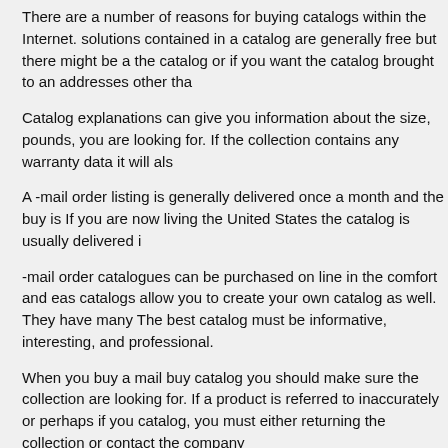There are a number of reasons for buying catalogs within the Internet. solutions contained in a catalog are generally free but there might be a the catalog or if you want the catalog brought to an addresses other tha
Catalog explanations can give you information about the size, pounds, you are looking for. If the collection contains any warranty data it will als
A -mail order listing is generally delivered once a month and the buy is If you are now living the United States the catalog is usually delivered i
-mail order catalogues can be purchased on line in the comfort and eas catalogs allow you to create your own catalog as well. They have many The best catalog must be informative, interesting, and professional.
When you buy a mail buy catalog you should make sure the collection are looking for. If a product is referred to inaccurately or perhaps if you catalog, you must either returning the collection or contact the company
A good collection should have a positive return policy. This would be cl
There are a lot of different features which will make a directory success provider will offer top quality customer service and guarantee pleasure
Catalogs where you can create your have catalog will be ideal if you ne